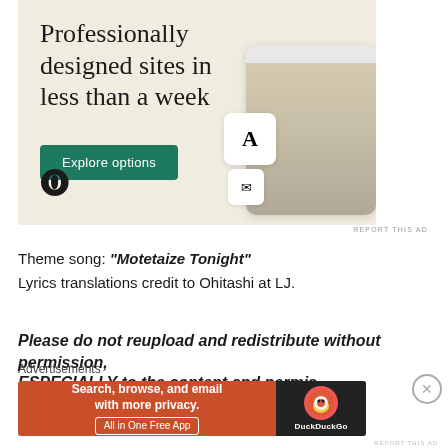[Figure (screenshot): WordPress.com advertisement banner with cream/beige background. Large serif headline text reads 'Professionally designed sites in less than a week'. Green 'Explore options' button below. WordPress logo (W) in bottom left. Screenshots of websites on right side.]
Theme song: "Motetaize Tonight"
Lyrics translations credit to Ohitashi at LJ.
Please do not reupload and redistribute without permission,
ESPECIALLY to the content and permission
Advertisements
[Figure (screenshot): DuckDuckGo advertisement banner. Red/orange background on left with text 'Search, browse, and email with more privacy. All in One Free App'. Dark background on right with DuckDuckGo duck logo and 'DuckDuckGo' text.]